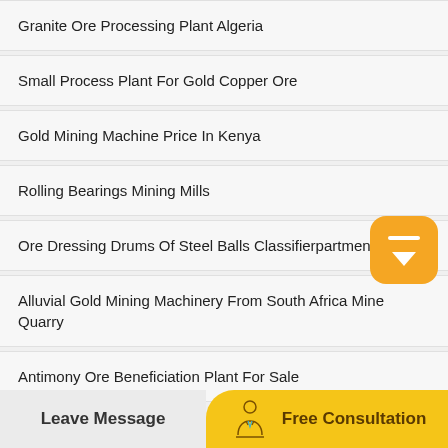Granite Ore Processing Plant Algeria
Small Process Plant For Gold Copper Ore
Gold Mining Machine Price In Kenya
Rolling Bearings Mining Mills
Ore Dressing Drums Of Steel Balls Classifierpartment
Alluvial Gold Mining Machinery From South Africa Mine Quarry
Antimony Ore Beneficiation Plant For Sale
Leave Message
Free Consultation